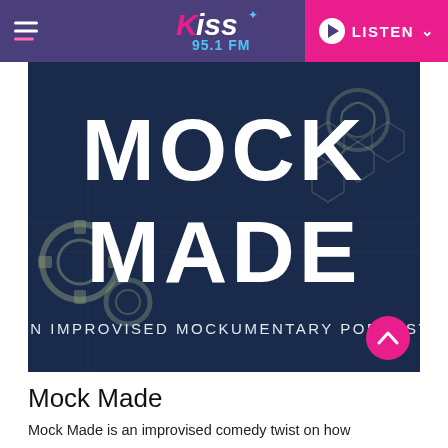Kiss 95.1 FM — LISTEN
[Figure (illustration): Mock Made podcast promotional image. Dark navy blue background with large bold white text reading MOCK MOCK MADE, mechanical gears and hexagon patterns, subtitle AN IMPROVISED MOCKUMENTARY PODCAST]
Mock Made
Mock Made is an improvised comedy twist on how